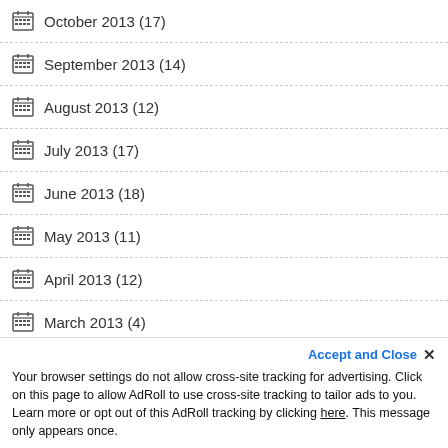October 2013 (17)
September 2013 (14)
August 2013 (12)
July 2013 (17)
June 2013 (18)
May 2013 (11)
April 2013 (12)
March 2013 (4)
Roca Promoted to Assistant Chief
08/14/2020
Accept and Close ✕ Your browser settings do not allow cross-site tracking for advertising. Click on this page to allow AdRoll to use cross-site tracking to tailor ads to you. Learn more or opt out of this AdRoll tracking by clicking here. This message only appears once.